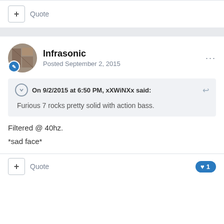+ Quote
Infrasonic
Posted September 2, 2015
On 9/2/2015 at 6:50 PM, xXWiNXx said:
Furious 7 rocks pretty solid with action bass.
Filtered @ 40hz.
*sad face*
+ Quote